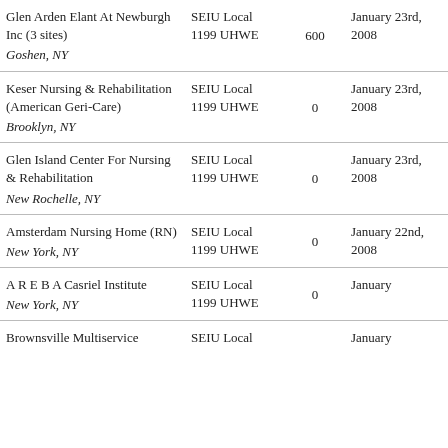| Facility | Union | Members | Date |
| --- | --- | --- | --- |
| Glen Arden Elant At Newburgh Inc (3 sites)
Goshen, NY | SEIU Local 1199 UHWE | 600 | January 23rd, 2008 |
| Keser Nursing & Rehabilitation (American Geri-Care)
Brooklyn, NY | SEIU Local 1199 UHWE | 0 | January 23rd, 2008 |
| Glen Island Center For Nursing & Rehabilitation
New Rochelle, NY | SEIU Local 1199 UHWE | 0 | January 23rd, 2008 |
| Amsterdam Nursing Home (RN)
New York, NY | SEIU Local 1199 UHWE | 0 | January 22nd, 2008 |
| A R E B A Casriel Institute
New York, NY | SEIU Local 1199 UHWE | 0 | January |
| Brownsville Multiservice | SEIU Local |  | January |